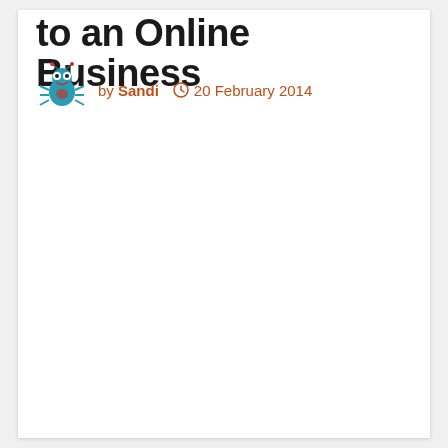to an Online Business
by Sandi  20 February 2014